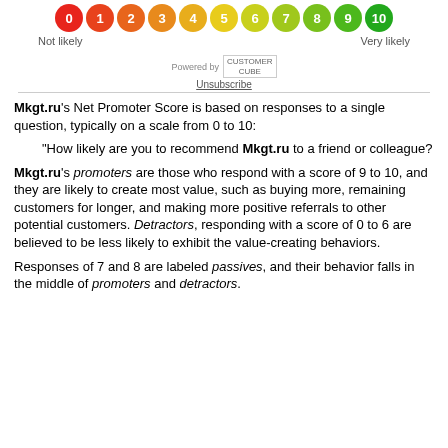[Figure (infographic): NPS scale with numbered circles 0-10 colored from red to green, with 'Not likely' on left and 'Very likely' on right labels]
Powered by [Customer Cube logo] Unsubscribe
Mkgt.ru's Net Promoter Score is based on responses to a single question, typically on a scale from 0 to 10:
"How likely are you to recommend Mkgt.ru to a friend or colleague?
Mkgt.ru's promoters are those who respond with a score of 9 to 10, and they are likely to create most value, such as buying more, remaining customers for longer, and making more positive referrals to other potential customers. Detractors, responding with a score of 0 to 6 are believed to be less likely to exhibit the value-creating behaviors.
Responses of 7 and 8 are labeled passives, and their behavior falls in the middle of promoters and detractors.